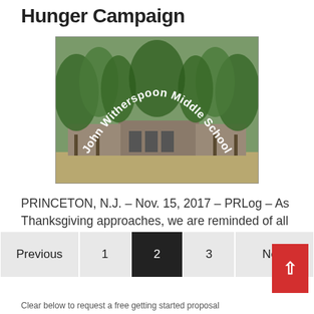Hunger Campaign
[Figure (photo): Exterior photo of John Witherspoon Middle School with tree-lined pathway, overlaid with white arched text reading 'John Witherspoon Middle School']
PRINCETON, N.J. – Nov. 15, 2017 – PRLog – As Thanksgiving approaches, we are reminded of all [...]
Previous  1  2  3  Next
Clear below to request a free getting started proposal